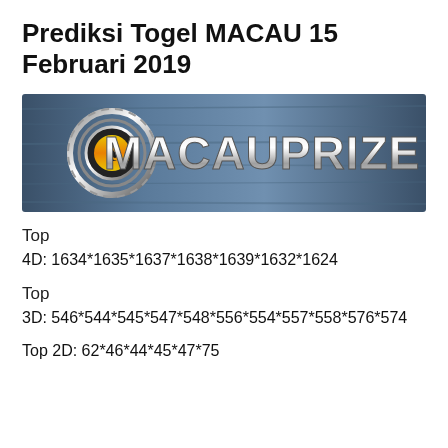Prediksi Togel MACAU 15 Februari 2019
[Figure (logo): Macau Prize banner logo with metallic text on a blue wood-grain background]
Top
4D: 1634*1635*1637*1638*1639*1632*1624
Top
3D: 546*544*545*547*548*556*554*557*558*576*574
Top 2D: 62*46*44*45*47*75